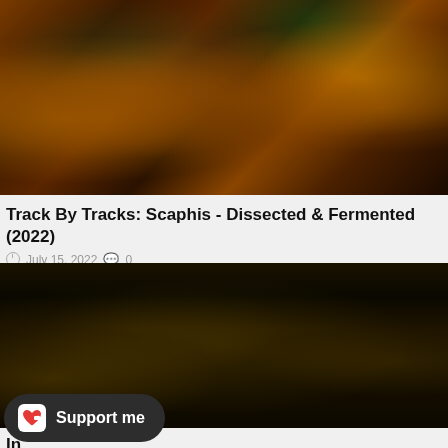[Figure (photo): Close-up photo of glass jars/bottles with dark amber liquid and teal/green cloth wrappings, with green drips visible at top — moody horror/metal aesthetic]
Track By Tracks: Scaphis - Dissected & Fermented (2022)
July 15, 2022  0
[Figure (photo): Band photo of five metal musicians posed against a black background with dark/yellow tone, wearing dark clothing, one with a hood, one with corpsepaint]
In
Support me